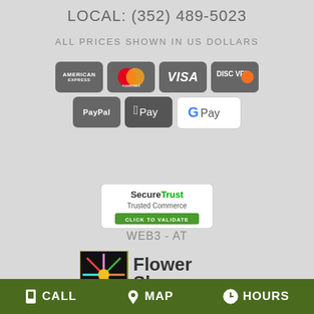LOCAL: (352) 489-5023
ALL PRICES SHOWN IN US DOLLARS
[Figure (infographic): Payment method icons: American Express, Mastercard, Visa, Discover, PayPal, Apple Pay, Google Pay]
[Figure (logo): SecureTrust Trusted Commerce - Click to Validate badge]
WEB3 - AT
[Figure (logo): Flower Shop Network - flowershopnetwork.com logo]
CALL  MAP  HOURS